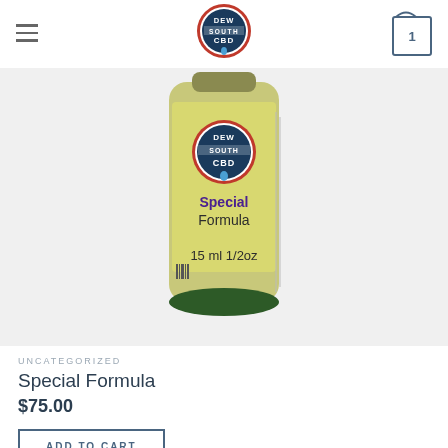Dew South CBD - navigation header with hamburger menu and cart icon showing 1 item
[Figure (photo): A bottle of Dew South CBD Special Formula 15 ml 1/2oz product with a yellow label showing the Dew South CBD logo and text 'Special Formula 15 ml 1/2oz']
UNCATEGORIZED
Special Formula
$75.00
ADD TO CART